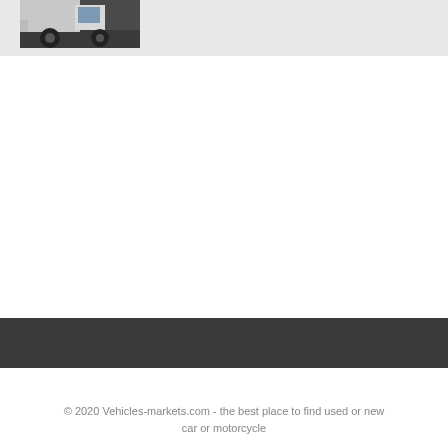[Figure (photo): Partial view of a vehicle (truck/car) showing the lower body and wheels on a dark asphalt surface, cropped at the top-left of the page header area.]
© 2020 Vehicles-markets.com - the best place to find used or new car or motorcycle